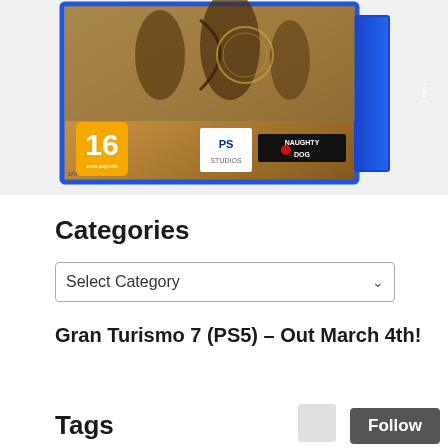[Figure (photo): PS5 game box for a Naughty Dog PlayStation game showing action characters, PEGI 16 rating badge, PlayStation Studios logo, and Naughty Dog logo on the cover. The box has a blue spine and is shown at a slight angle.]
Categories
Select Category
Gran Turismo 7 (PS5) – Out March 4th!
Tags